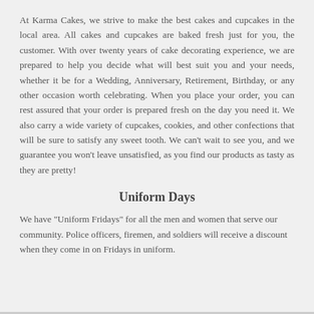At Karma Cakes, we strive to make the best cakes and cupcakes in the local area. All cakes and cupcakes are baked fresh just for you, the customer. With over twenty years of cake decorating experience, we are prepared to help you decide what will best suit you and your needs, whether it be for a Wedding, Anniversary, Retirement, Birthday, or any other occasion worth celebrating. When you place your order, you can rest assured that your order is prepared fresh on the day you need it. We also carry a wide variety of cupcakes, cookies, and other confections that will be sure to satisfy any sweet tooth. We can't wait to see you, and we guarantee you won't leave unsatisfied, as you find our products as tasty as they are pretty!
Uniform Days
We have "Uniform Fridays" for all the men and women that serve our community. Police officers, firemen, and soldiers will receive a discount when they come in on Fridays in uniform.